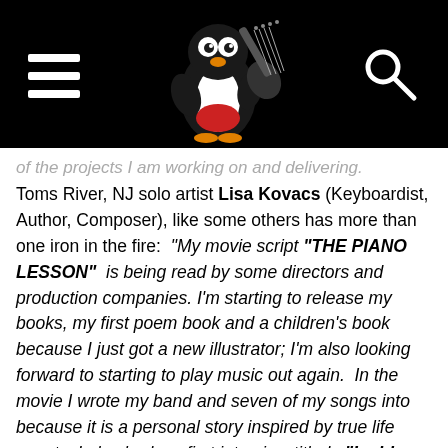[Figure (illustration): Website header with black background. Left: hamburger menu icon (three white horizontal bars). Center: cartoon penguin mascot playing an electric guitar. Right: white magnifying glass search icon.]
of the projects I am working on and delivering.
Toms River, NJ solo artist Lisa Kovacs (Keyboardist, Author, Composer), like some others has more than one iron in the fire:  “My movie script “THE PIANO LESSON”  is being read by some directors and production companies. I’m starting to release my books, my first poem book and a children’s book because I just got a new illustrator; I’m also looking forward to starting to play music out again.  In the movie I wrote my band and seven of my songs into because it is a personal story inspired by true life events; I also had my first interview titled,  “Inside The Jam Room,” it was with me and Arnie Brown who coproduced my album with me.”